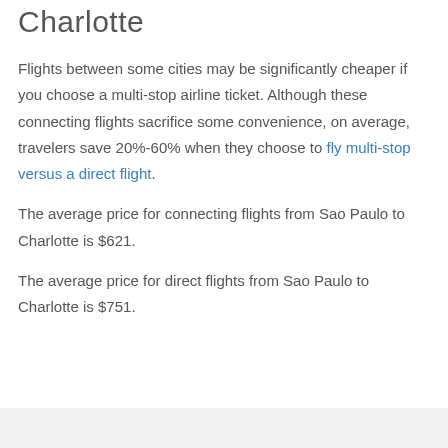Charlotte
Flights between some cities may be significantly cheaper if you choose a multi-stop airline ticket. Although these connecting flights sacrifice some convenience, on average, travelers save 20%-60% when they choose to fly multi-stop versus a direct flight.
The average price for connecting flights from Sao Paulo to Charlotte is $621.
The average price for direct flights from Sao Paulo to Charlotte is $751.